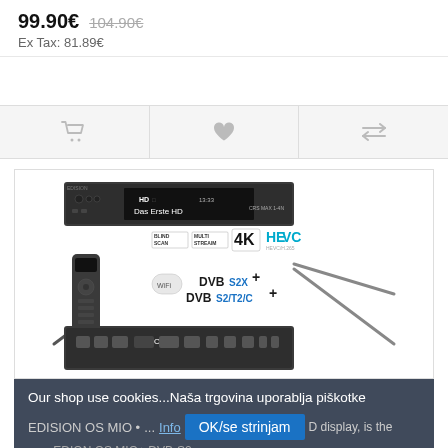99.90€  104.90€
Ex Tax: 81.89€
[Figure (screenshot): E-commerce product action bar with cart, wishlist, and compare icons]
[Figure (photo): EDISION OS MIO 4K satellite receiver product image showing front panel, remote control, feature badges (BLIND SCAN, MULTI STREAM, 4K, HEVC), DVB-S2X and DVB-S2/T2/C+ logos, WiFi, and rear panel connectors]
Our shop use cookies...Naša trgovina uporablja piškotke
EDISION OS MIO • ... Info    OK/se strinjam    D display, is the new EDION OS MIO+ DVB-S2x...